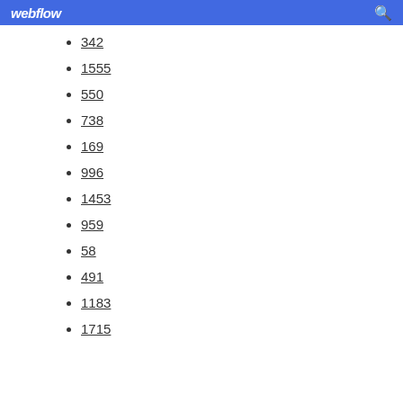webflow
342
1555
550
738
169
996
1453
959
58
491
1183
1715